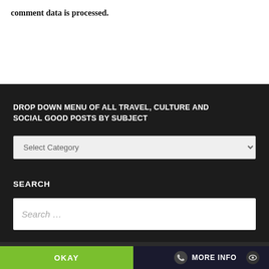comment data is processed.
DROP DOWN MENU OF ALL TRAVEL, CULTURE AND SOCIAL GOOD POSTS BY SUBJECT
Select Category
SEARCH
Search …
This website uses cookies
OKAY
MORE INFO